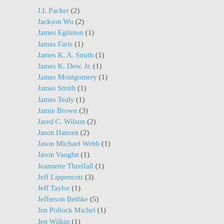J.I. Packer (2)
Jackson Wu (2)
James Eglinton (1)
James Faris (1)
James K. A. Smith (1)
James K. Dew, Jr. (1)
James Montgomery (1)
James Smith (1)
James Tealy (1)
Jamie Brown (3)
Jared C. Wilson (2)
Jason Hansen (2)
Jason Michael Webb (1)
Jason Vaughn (1)
Jeannette Threlfall (1)
Jeff Lippencott (3)
Jeff Taylor (1)
Jefferson Bethke (5)
Jen Pollock Michel (1)
Jen Wilkin (1)